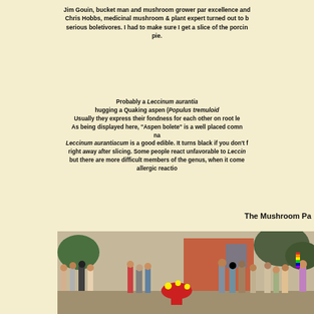Jim Gouin, bucket man and mushroom grower par excellence and Chris Hobbs, medicinal mushroom & plant expert turned out to be serious boletivores. I had to make sure I get a slice of the porcini pie.
Probably a Leccinum aurantiacum hugging a Quaking aspen (Populus tremuloides). Usually they express their fondness for each other on root level. As being displayed here, "Aspen bolete" is a well placed common name. Leccinum aurantiacum is a good edible. It turns black if you don't fix it right away after slicing. Some people react unfavorable to Leccinum, but there are more difficult members of the genus, when it comes to allergic reactions.
The Mushroom Pa
[Figure (photo): Crowd of people at what appears to be a mushroom parade or festival, outdoors near a building with a red mushroom prop visible.]